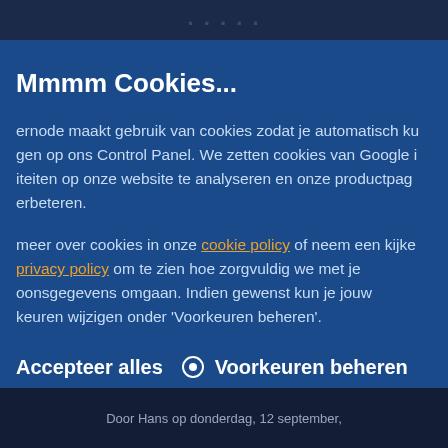Mmmm Cookies...
ernode maakt gebruik van cookies zodat je automatisch ku gen op ons Control Panel. We zetten cookies van Google i iteiten op onze website te analyseren en onze productpag erbeteren.
meer over cookies in onze cookie policy of neem een kijke privacy policy om te zien hoe zorgvuldig we met je oonsgegevens omgaan. Indien gewenst kun je jouw keuren wijzigen onder 'Voorkeuren beheren'.
Accepteer alles    Voorkeuren beheren
Door Hans op donderdag, 12 september,